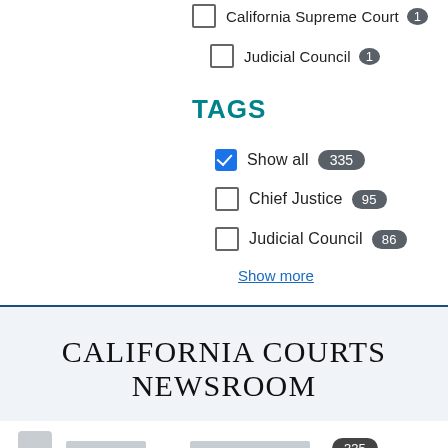California Supreme Court 1
Judicial Council 1
TAGS
Show all 335 (checked)
Chief Justice 95
Judicial Council 86
Show more
CALIFORNIA COURTS NEWSROOM